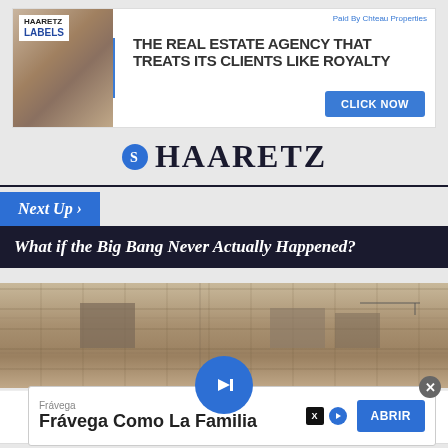[Figure (other): Haaretz Labels real estate advertisement banner with interior photo, headline 'THE REAL ESTATE AGENCY THAT TREATS ITS CLIENTS LIKE ROYALTY' and CLICK NOW button. Paid By Chteau Properties.]
HAARETZ
[Figure (other): Next Up navigation label in blue and article title bar reading 'What if the Big Bang Never Actually Happened?' on dark navy background]
[Figure (photo): Photograph of an old stone wall building exterior]
[Figure (other): Haaretz circular blue logo icon with arrow symbol, centered over image]
[Figure (other): Social media sharing bar with Twitter, Facebook, bookmark, and email icons]
[Figure (other): Bottom advertisement for Frávega Como La Familia with ABRIR button and close X button]